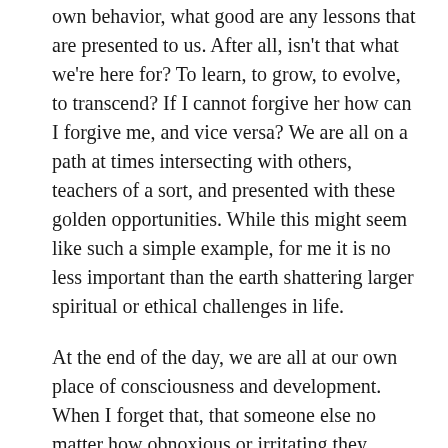own behavior, what good are any lessons that are presented to us. After all, isn't that what we're here for? To learn, to grow, to evolve, to transcend? If I cannot forgive her how can I forgive me, and vice versa? We are all on a path at times intersecting with others, teachers of a sort, and presented with these golden opportunities. While this might seem like such a simple example, for me it is no less important than the earth shattering larger spiritual or ethical challenges in life.
At the end of the day, we are all at our own place of consciousness and development. When I forget that, that someone else no matter how obnoxious or irritating they might seem to me, or self absorbed and self centered, I am the one who suffers on the inside both emotionally and spiritually. I suffer in the judgment of that other person. But mostly I suffer in